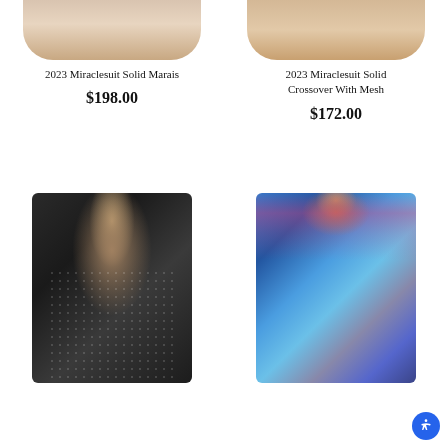[Figure (photo): Partial cropped torso of a model wearing a swimsuit - top portion only visible (bottom of image crop)]
2023 Miraclesuit Solid Marais
$198.00
[Figure (photo): Partial cropped torso of a model wearing a swimsuit - top portion only visible (bottom of image crop)]
2023 Miraclesuit Solid Crossover With Mesh
$172.00
[Figure (photo): Full model wearing a black polka dot one-piece swimdress with deep V-neck]
[Figure (photo): Full model wearing a blue patterned one-piece swimsuit with pink trim and decorative print]